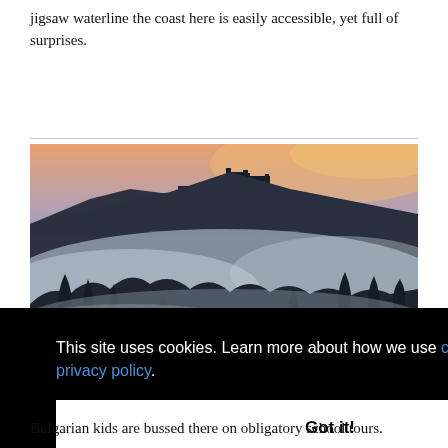jigsaw waterline the coast here is easily accessible, yet full of surprises.
[Figure (photo): A misty atmospheric landscape showing a castle or fortress ruins on a hilltop silhouetted against an orange-tinted sky at dusk, with bare trees and fog in the foreground.]
This site uses cookies. Learn more about how we use cookies and our privacy policy.
Got it!
Bulgarian kids are bussed there on obligatory school tours.